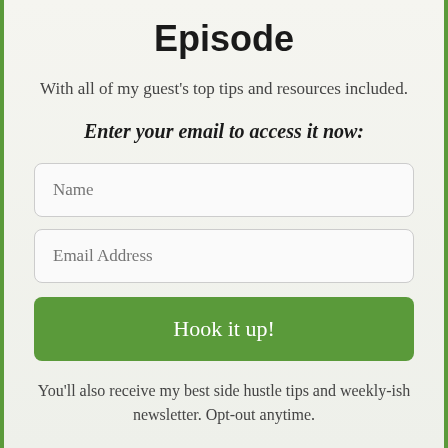Episode
With all of my guest's top tips and resources included.
Enter your email to access it now:
Name
Email Address
Hook it up!
You'll also receive my best side hustle tips and weekly-ish newsletter. Opt-out anytime.